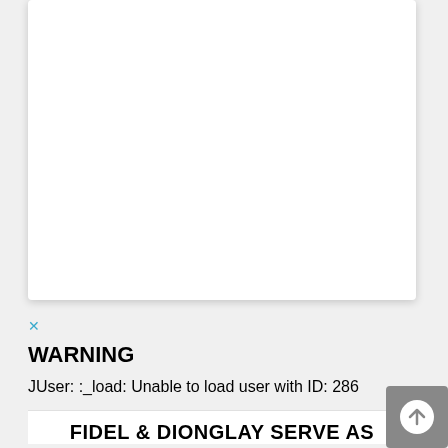[Figure (other): White card/panel area, mostly blank white background with shadow]
×
WARNING
JUser: :_load: Unable to load user with ID: 286
FIDEL & DIONGLAY SERVE AS